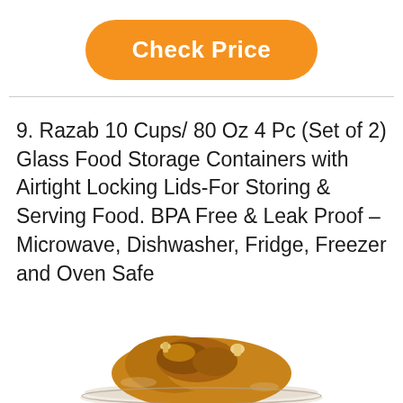[Figure (other): Orange rounded rectangle button labeled 'Check Price' in bold white text]
9. Razab 10 Cups/ 80 Oz 4 Pc (Set of 2) Glass Food Storage Containers with Airtight Locking Lids-For Storing & Serving Food. BPA Free & Leak Proof – Microwave, Dishwasher, Fridge, Freezer and Oven Safe
[Figure (photo): Bottom portion of a glass food storage container with food (appears to be a cooked chicken or roasted meat) visible inside, partially cropped at the bottom of the page]